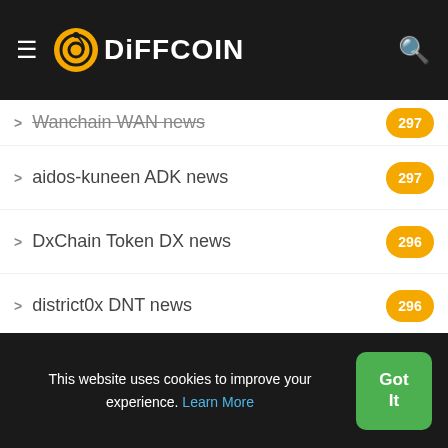DiFFCOIN
Wanchain WAN news 297
aidos-kuneen ADK news 297
DxChain Token DX news 296
district0x DNT news 296
Electroneum ETN news 296
Ardor ARDR news 293
JUST JST news 293
power-ledger POWR news 293
MCO news 292
irisnet IRIS news 291
This website uses cookies to improve your experience. Learn More